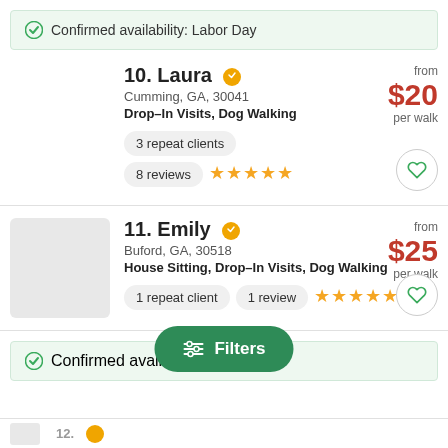Confirmed availability: Labor Day
10. Laura — Cumming, GA, 30041 — Drop-In Visits, Dog Walking — from $20 per walk — 3 repeat clients — 8 reviews ★★★★★
11. Emily — Buford, GA, 30518 — House Sitting, Drop-In Visits, Dog Walking — from $25 per walk — 1 repeat client — 1 review ★★★★★
Confirmed availab...
Filters